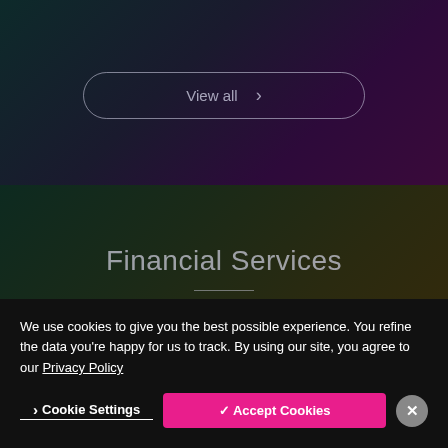[Figure (screenshot): Dark gradient background with teal-to-purple gradient at top section]
View all ›
Financial Services
Our financial services lawyers combine a
We use cookies to give you the best possible experience. You refine the data you’re happy for us to track. By using our site, you agree to our Privacy Policy
› Cookie Settings
✓ Accept Cookies